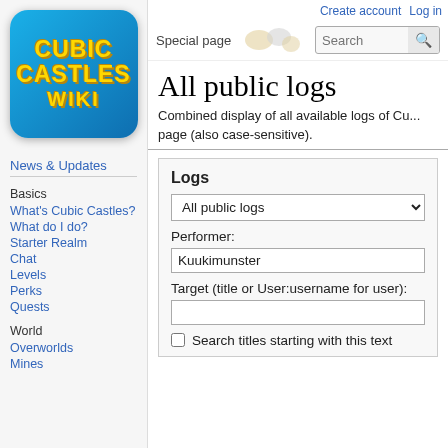Create account  Log in
[Figure (logo): Cubic Castles Wiki logo - colorful game wiki logo with yellow text on blue rounded rectangle background]
Special page
All public logs
Combined display of all available logs of Cu... page (also case-sensitive).
News & Updates
Basics
What's Cubic Castles?
What do I do?
Starter Realm
Chat
Levels
Perks
Quests
World
Overworlds
Mines
Logs
All public logs
Performer:
Kuukimunster
Target (title or User:username for user):
Search titles starting with this text